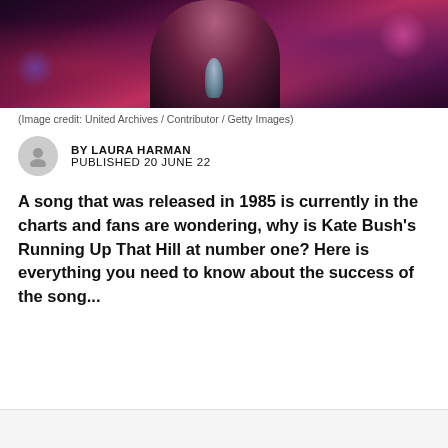[Figure (photo): A performer (Kate Bush) on stage with pink/purple dramatic lighting, holding a microphone, with dark background and colorful bokeh lights]
(Image credit: United Archives / Contributor / Getty Images)
BY LAURA HARMAN
PUBLISHED 20 JUNE 22
A song that was released in 1985 is currently in the charts and fans are wondering, why is Kate Bush's Running Up That Hill at number one? Here is everything you need to know about the success of the song...